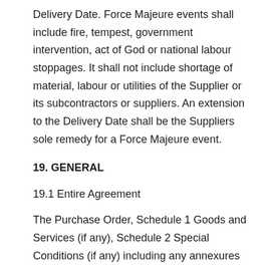Delivery Date. Force Majeure events shall include fire, tempest, government intervention, act of God or national labour stoppages. It shall not include shortage of material, labour or utilities of the Supplier or its subcontractors or suppliers. An extension to the Delivery Date shall be the Suppliers sole remedy for a Force Majeure event.
19. GENERAL
19.1 Entire Agreement
The Purchase Order, Schedule 1 Goods and Services (if any), Schedule 2 Special Conditions (if any) including any annexures thereto and these Purchase Order terms and conditions constitute the entire agreement for the supply and purchase of the Goods or Services and